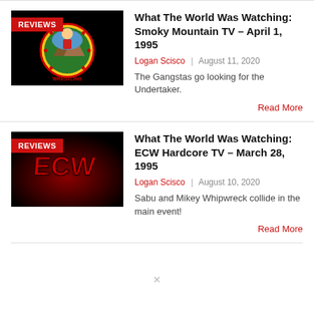[Figure (other): Smoky Mountain Wrestling logo on black background with REVIEWS badge]
What The World Was Watching: Smoky Mountain TV – April 1, 1995
Logan Scisco | August 11, 2020
The Gangstas go looking for the Undertaker.
Read More
[Figure (other): ECW logo on black/red gradient background with REVIEWS badge]
What The World Was Watching: ECW Hardcore TV – March 28, 1995
Logan Scisco | August 10, 2020
Sabu and Mikey Whipwreck collide in the main event!
Read More